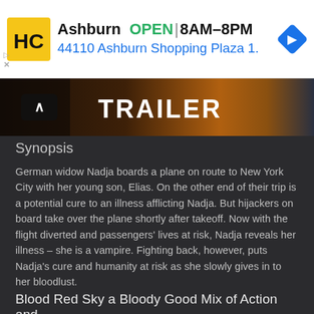[Figure (screenshot): Advertisement banner for Harvest Center store in Ashburn showing logo, OPEN status, hours 8AM-8PM, address 44110 Ashburn Shopping Plaza 1., and navigation arrow icon]
[Figure (screenshot): Movie trailer banner showing partial text 'TRAILER' on a dark cinematic background with warm orange tones]
Synopsis
German widow Nadja boards a plane on route to New York City with her young son, Elias. On the other end of their trip is a potential cure to an illness afflicting Nadja. But hijackers on board take over the plane shortly after takeoff. Now with the flight diverted and passengers' lives at risk, Nadja reveals her illness – she is a vampire. Fighting back, however, puts Nadja's cure and humanity at risk as she slowly gives in to her bloodlust.
Blood Red Sky a Bloody Good Mix of Action and